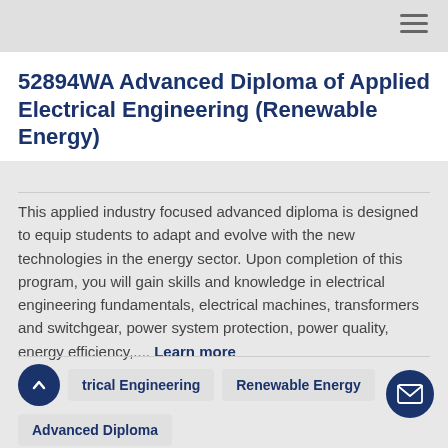52894WA Advanced Diploma of Applied Electrical Engineering (Renewable Energy)
This applied industry focused advanced diploma is designed to equip students to adapt and evolve with the new technologies in the energy sector. Upon completion of this program, you will gain skills and knowledge in electrical engineering fundamentals, electrical machines, transformers and switchgear, power system protection, power quality, energy efficiency,.... Learn more
Electrical Engineering
Renewable Energy
Advanced Diploma